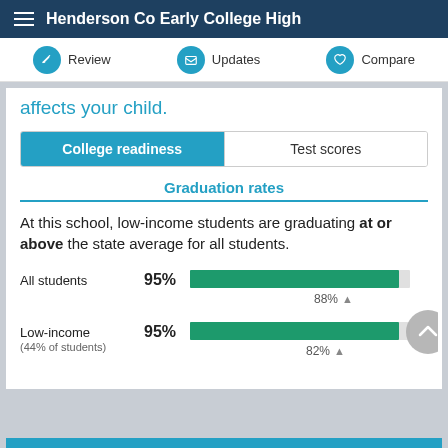Henderson Co Early College High
Review | Updates | Compare
affects your child.
College readiness | Test scores
Graduation rates
At this school, low-income students are graduating at or above the state average for all students.
[Figure (bar-chart): Graduation rates]